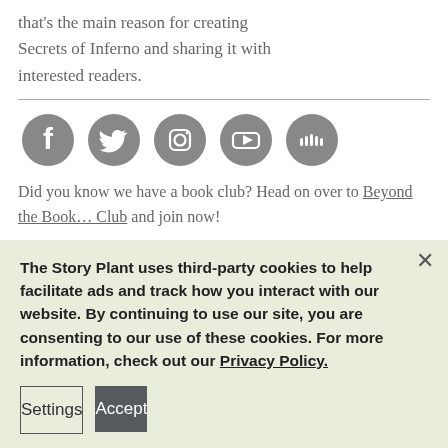that's the main reason for creating Secrets of Inferno and sharing it with interested readers.
[Figure (illustration): Five circular social media icons (Facebook, Twitter, Instagram, YouTube, SoundCloud) in gray on white background, arranged in a horizontal row.]
Did you know we have a book club? Head on over to Beyond the Book… Club and join now!
Connect with us on social media or feel free to reach out via our contact form!
The Story Plant uses third-party cookies to help facilitate ads and track how you interact with our website. By continuing to use our site, you are consenting to our use of these cookies. For more information, check out our Privacy Policy.
Settings
Accept